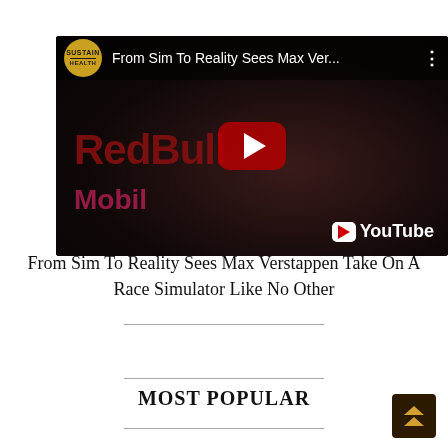[Figure (screenshot): YouTube video thumbnail showing Red Bull branded racing simulator content. Title bar reads 'From Sim To Reality Sees Max Ver...' with Sustain Health channel logo. Dark background with Red Bull and Mobil branding visible. Red play button in center. YouTube watermark bottom right.]
From Sim To Reality Sees Max Verstappen Take On A Race Simulator Like No Other
MOST POPULAR